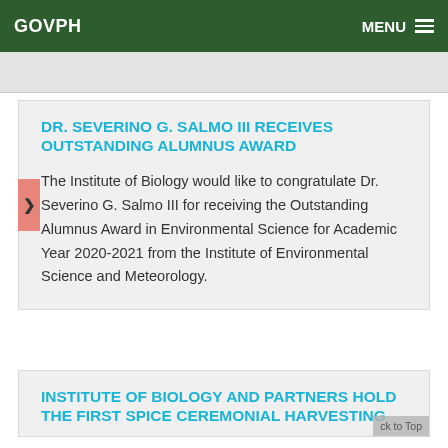GOVPH   MENU
DR. SEVERINO G. SALMO III RECEIVES OUTSTANDING ALUMNUS AWARD
The Institute of Biology would like to congratulate Dr. Severino G. Salmo III for receiving the Outstanding Alumnus Award in Environmental Science for Academic Year 2020-2021 from the Institute of Environmental Science and Meteorology.
INSTITUTE OF BIOLOGY AND PARTNERS HOLD THE FIRST SPICE CEREMONIAL HARVESTING